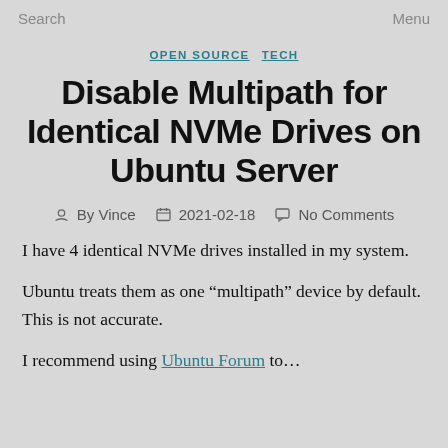Search    Menu
OPEN SOURCE  TECH
Disable Multipath for Identical NVMe Drives on Ubuntu Server
By Vince  2021-02-18  No Comments
I have 4 identical NVMe drives installed in my system.
Ubuntu treats them as one “multipath” device by default. This is not accurate.
I recommend using Ubuntu Forum to...